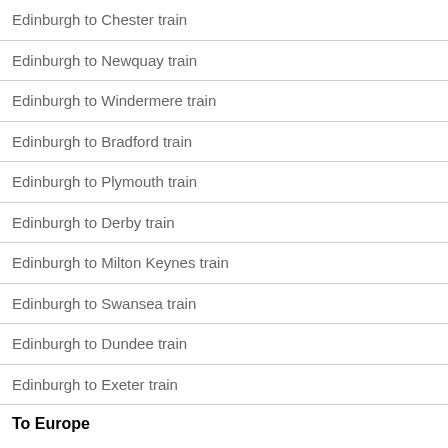Edinburgh to Chester train
Edinburgh to Newquay train
Edinburgh to Windermere train
Edinburgh to Bradford train
Edinburgh to Plymouth train
Edinburgh to Derby train
Edinburgh to Milton Keynes train
Edinburgh to Swansea train
Edinburgh to Dundee train
Edinburgh to Exeter train
To Europe